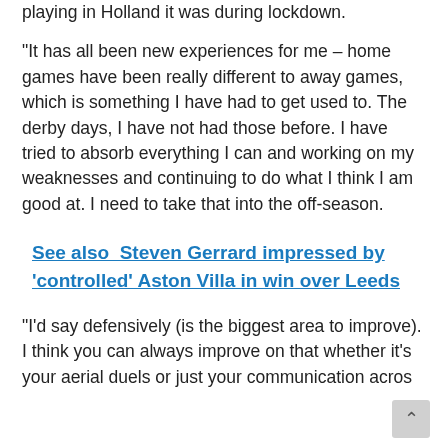playing in Holland it was during lockdown.
“It has all been new experiences for me – home games have been really different to away games, which is something I have had to get used to. The derby days, I have not had those before. I have tried to absorb everything I can and working on my weaknesses and continuing to do what I think I am good at. I need to take that into the off-season.
See also  Steven Gerrard impressed by ‘controlled’ Aston Villa in win over Leeds
“I’d say defensively (is the biggest area to improve). I think you can always improve on that whether it’s your aerial duels or just your communication acros